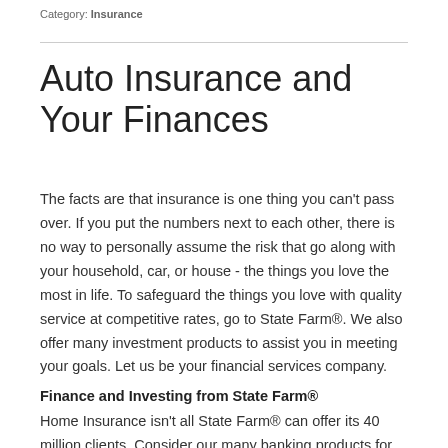Category: Insurance
Auto Insurance and Your Finances
The facts are that insurance is one thing you can't pass over. If you put the numbers next to each other, there is no way to personally assume the risk that go along with your household, car, or house - the things you love the most in life. To safeguard the things you love with quality service at competitive rates, go to State Farm®. We also offer many investment products to assist you in meeting your goals. Let us be your financial services company.
Finance and Investing from State Farm®
Home Insurance isn't all State Farm® can offer its 40 million clients. Consider our many banking products for